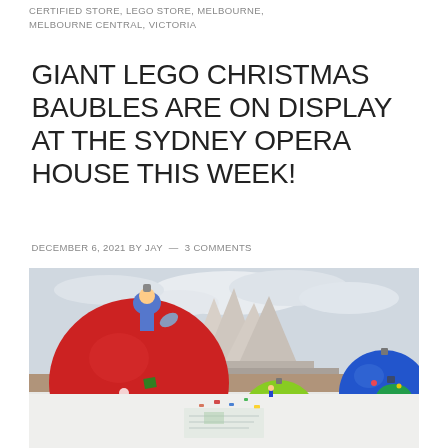CERTIFIED STORE, LEGO STORE, MELBOURNE, MELBOURNE CENTRAL, VICTORIA
GIANT LEGO CHRISTMAS BAUBLES ARE ON DISPLAY AT THE SYDNEY OPERA HOUSE THIS WEEK!
DECEMBER 6, 2021 BY JAY — 3 COMMENTS
[Figure (photo): Giant LEGO Christmas baubles displayed in front of the Sydney Opera House. A large red bauble with a LEGO minifigure on top is in the foreground left, a yellow-green bauble in the middle, and a blue/green bauble on the right. LEGO pieces and small figures are visible on the ground in the foreground.]